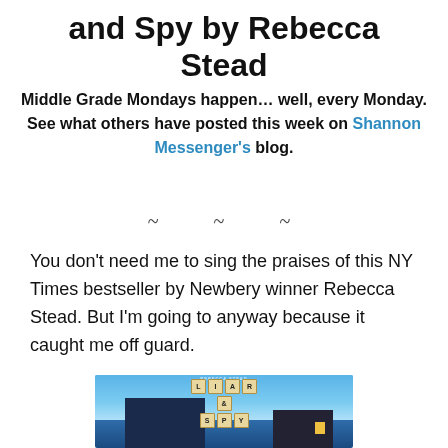and Spy by Rebecca Stead
Middle Grade Mondays happen… well, every Monday. See what others have posted this week on Shannon Messenger's blog.
~ ~ ~
You don't need me to sing the praises of this NY Times bestseller by Newbery winner Rebecca Stead. But I'm going to anyway because it caught me off guard.
[Figure (photo): Book cover of Liar & Spy by Rebecca Stead, showing Scrabble tiles spelling out LIAR & SPY against a blue background with a dark building silhouette]